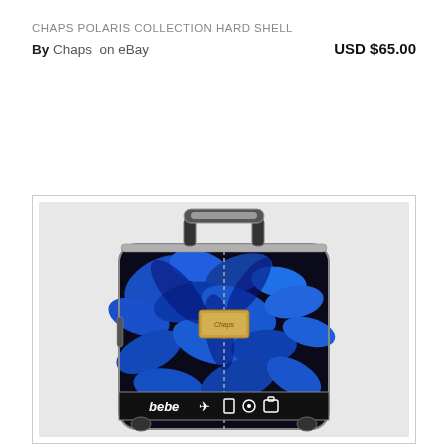CHAPS POLARIS COLLECTION HARD SHELL
By Chaps on eBay   USD $65.00
[Figure (photo): A hard shell suitcase with blue tropical leaf pattern, silver hardware, retractable handle, and 'bebe' branding strip with travel icons at the bottom.]